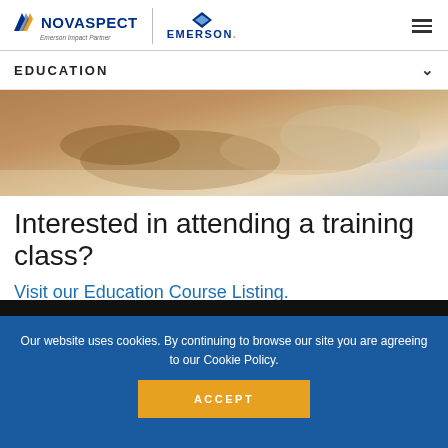[Figure (logo): Novaspect logo with Emerson Impact Partner tagline and Emerson diamond logo]
EDUCATION
[Figure (photo): Close-up photo of hands writing or working at a desk, training class context]
Interested in attending a training class?
Visit our Education Course Listing.
Our website uses cookies. By continuing to browse our site you are agreeing to our Cookie Policy.